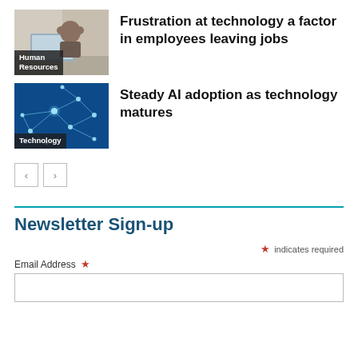[Figure (photo): Person at a desk looking frustrated at a laptop, with a 'Human Resources' label overlay at bottom left]
Frustration at technology a factor in employees leaving jobs
[Figure (photo): Abstract blue network/AI visualization with glowing nodes and connections, with a 'Technology' label overlay at bottom left]
Steady AI adoption as technology matures
Newsletter Sign-up
* indicates required
Email Address *